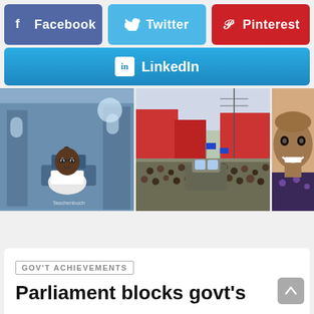[Figure (screenshot): Facebook share button (blue/purple)]
[Figure (screenshot): Twitter share button (light blue)]
[Figure (screenshot): Pinterest share button (red)]
[Figure (screenshot): LinkedIn share button (blue gradient)]
[Figure (photo): Man in white shirt speaking at podium with microphone]
[Figure (photo): Crowd of people in street with vehicles, urban scene]
[Figure (photo): Partial view of smiling man]
GOV'T ACHIEVEMENTS
Parliament blocks govt's